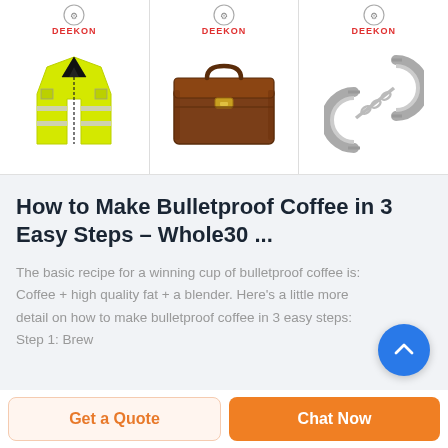[Figure (photo): Three product images from DEEKON: yellow safety vest, brown briefcase, silver handcuffs]
How to Make Bulletproof Coffee in 3 Easy Steps – Whole30 ...
The basic recipe for a winning cup of bulletproof coffee is: Coffee + high quality fat + a blender. Here's a little more detail on how to make bulletproof coffee in 3 easy steps: Step 1: Brew
Get a Quote
Chat Now